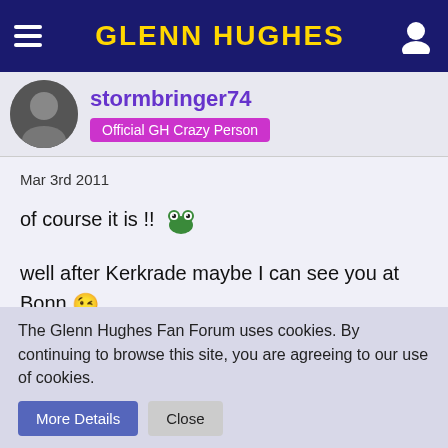GLENN HUGHES
stormbringer74
Official GH Crazy Person
Mar 3rd 2011
of course it is !! [alien emoji]
well after Kerkrade maybe I can see you at Bonn 😉
lioness
Official GH Crazy Person
The Glenn Hughes Fan Forum uses cookies. By continuing to browse this site, you are agreeing to our use of cookies.
More Details
Close